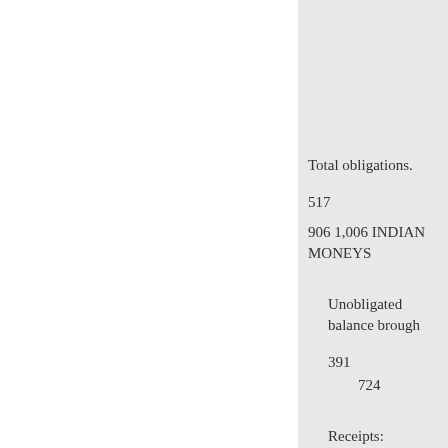Total obligations.
517
906 1,006 INDIAN MONEYS
Unobligated balance brought
391
724
Receipts:
Contributed funds.
789
800
800 Expenses, public survey w
55
60